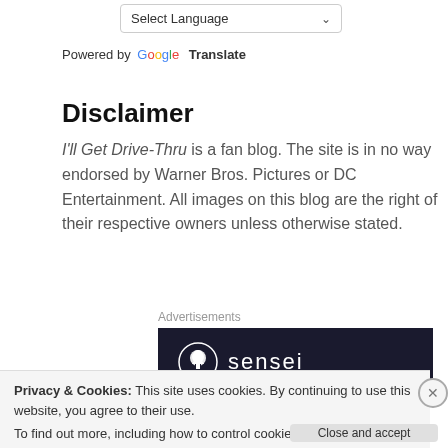[Figure (screenshot): Language selector dropdown showing 'Select Language' with a chevron arrow]
Powered by Google Translate
Disclaimer
I'll Get Drive-Thru is a fan blog. The site is in no way endorsed by Warner Bros. Pictures or DC Entertainment. All images on this blog are the right of their respective owners unless otherwise stated.
Advertisements
[Figure (logo): Sensei advertisement banner — dark background with white circular logo and 'sensei' text]
Privacy & Cookies: This site uses cookies. By continuing to use this website, you agree to their use.
To find out more, including how to control cookies, see here: Cookie Policy
Close and accept